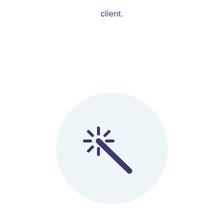client.
[Figure (illustration): A light blue circle containing a magic wand icon with sparkle lines radiating from its tip, rendered in dark purple/indigo color.]